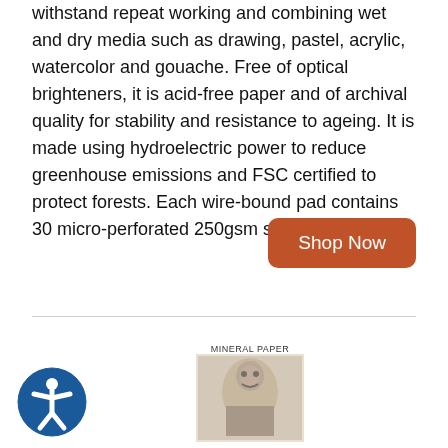withstand repeat working and combining wet and dry media such as drawing, pastel, acrylic, watercolor and gouache. Free of optical brighteners, it is acid-free paper and of archival quality for stability and resistance to ageing. It is made using hydroelectric power to reduce greenhouse emissions and FSC certified to protect forests. Each wire-bound pad contains 30 micro-perforated 250gsm sheets.
[Figure (other): Shop Now button — orange rounded rectangle with white text]
[Figure (other): Accessibility icon — circular blue icon with person figure]
[Figure (other): Product image showing a sketchbook or art pad with MINERAL PAPER label and portrait illustration on cover]